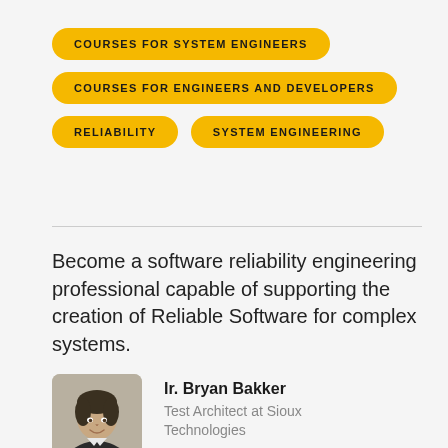COURSES FOR SYSTEM ENGINEERS
COURSES FOR ENGINEERS AND DEVELOPERS
RELIABILITY
SYSTEM ENGINEERING
Become a software reliability engineering professional capable of supporting the creation of Reliable Software for complex systems.
[Figure (photo): Headshot photo of Ir. Bryan Bakker, a man in dark clothing]
Ir. Bryan Bakker
Test Architect at Sioux Technologies